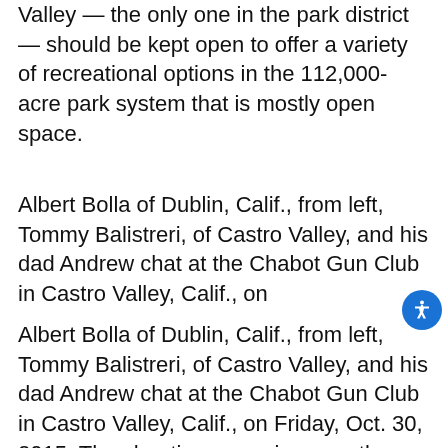Valley — the only one in the park district — should be kept open to offer a variety of recreational options in the 112,000-acre park system that is mostly open space.
Albert Bolla of Dublin, Calif., from left, Tommy Balistreri, of Castro Valley, and his dad Andrew chat at the Chabot Gun Club in Castro Valley, Calif., on
Albert Bolla of Dublin, Calif., from left, Tommy Balistreri, of Castro Valley, and his dad Andrew chat at the Chabot Gun Club in Castro Valley, Calif., on Friday, Oct. 30, 2015. The shooting range is currently looking to extend their lease with the East Bay Regional Park District amid concerns about lead cleanup costs and continuing complaints about noise. (Anda Chu/Bay Area News Group) (ANDA CHU)